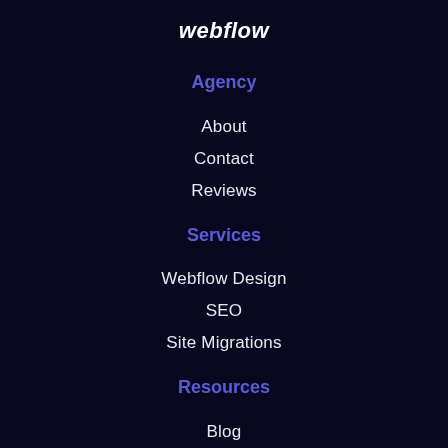webflow
Agency
About
Contact
Reviews
Services
Webflow Design
SEO
Site Migrations
Resources
Blog